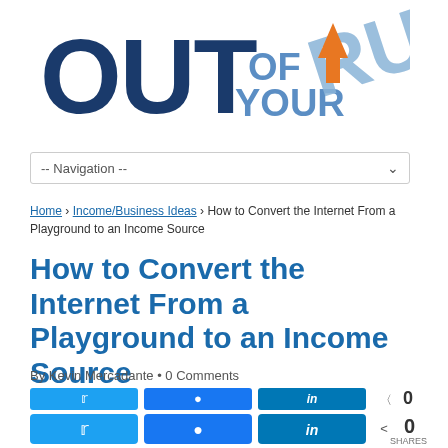[Figure (logo): Out of Your Rut website logo with dark blue bold OUT text, orange arrow, and light blue tilted RUT text with OF YOUR below]
-- Navigation --
Home › Income/Business Ideas › How to Convert the Internet From a Playground to an Income Source
How to Convert the Internet From a Playground to an Income Source
By Kevin Mercadante • 0 Comments
[Figure (infographic): Social share buttons row: Twitter, Facebook, LinkedIn with share count 0 and shares label]